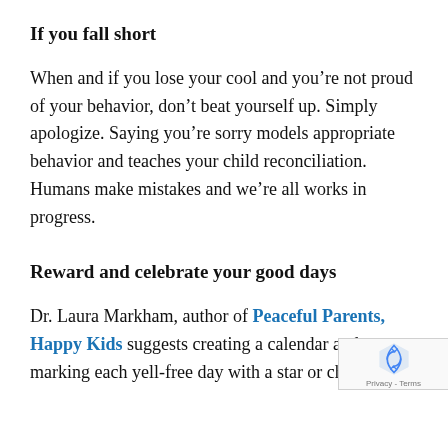If you fall short
When and if you lose your cool and you’re not proud of your behavior, don’t beat yourself up. Simply apologize. Saying you’re sorry models appropriate behavior and teaches your child reconciliation. Humans make mistakes and we’re all works in progress.
Reward and celebrate your good days
Dr. Laura Markham, author of Peaceful Parents, Happy Kids suggests creating a calendar and marking each yell-free day with a star or check